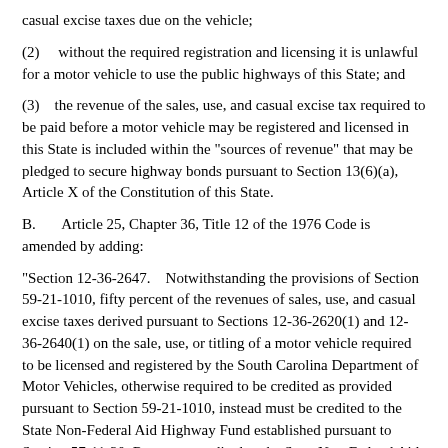casual excise taxes due on the vehicle;
(2)    without the required registration and licensing it is unlawful for a motor vehicle to use the public highways of this State; and
(3)    the revenue of the sales, use, and casual excise tax required to be paid before a motor vehicle may be registered and licensed in this State is included within the "sources of revenue" that may be pledged to secure highway bonds pursuant to Section 13(6)(a), Article X of the Constitution of this State.
B.      Article 25, Chapter 36, Title 12 of the 1976 Code is amended by adding:
"Section 12-36-2647.    Notwithstanding the provisions of Section 59-21-1010, fifty percent of the revenues of sales, use, and casual excise taxes derived pursuant to Sections 12-36-2620(1) and 12-36-2640(1) on the sale, use, or titling of a motor vehicle required to be licensed and registered by the South Carolina Department of Motor Vehicles, otherwise required to be credited as provided pursuant to Section 59-21-1010, instead must be credited to the State Non-Federal Aid Highway Fund established pursuant to Section 57-11-20. Revenues credited to the State Non-Federal Aid Highway Fund pursuant to this section must be used exclusively for highway, road, and bridge maintenance, construction, and